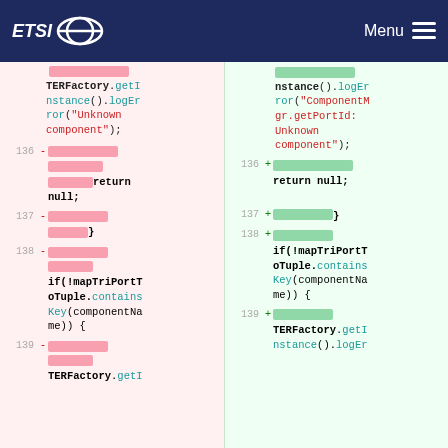ETSI Menu
[Figure (screenshot): Code diff view showing two columns (left: removed lines in pink, right: added lines in green) with line numbers 136-139. Left side shows TERFactory.getInstance().logError("Unknown component"); with return null; and if(!mapTriPortToTuple.containsKey(componentName)) { blocks. Right side shows similar code with updated string ComponentMgr.getPortId: Unknown component".]
TERFactory.getInstance().logError("Unknown component");
return null;
}
if(!mapTriPortToTuple.containsKey(componentName)) {
TERFactory.getI nstance().logEr
return null;
}
if(!mapTriPortToTuple.containsKey(componentName)) {
TERFactory.getI nstance().logEr